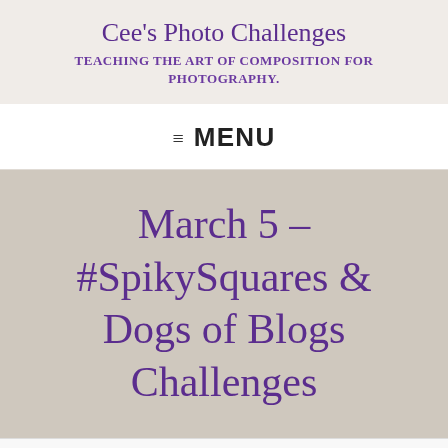Cee's Photo Challenges
TEACHING THE ART OF COMPOSITION FOR PHOTOGRAPHY.
≡ MENU
March 5 – #SpikySquares & Dogs of Blogs Challenges
Follow ...